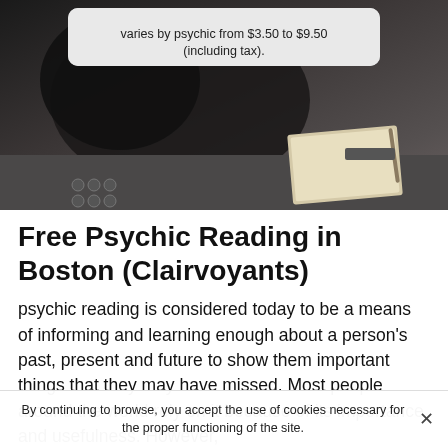[Figure (photo): Dark moody photo of a person leaning over a desk with a notebook and pen visible in the lower right, with a semi-transparent tooltip/callout box at the top containing text about pricing varying by psychic from $3.50 to $9.50 (including tax).]
varies by psychic from $3.50 to $9.50 (including tax).
Free Psychic Reading in Boston (Clairvoyants)
psychic reading is considered today to be a means of informing and learning enough about a person's past, present and future to show them important things that they may have missed. Most people around the world rely on it because of its importance and usefulness. However,
By continuing to browse, you accept the use of cookies necessary for the proper functioning of the site.